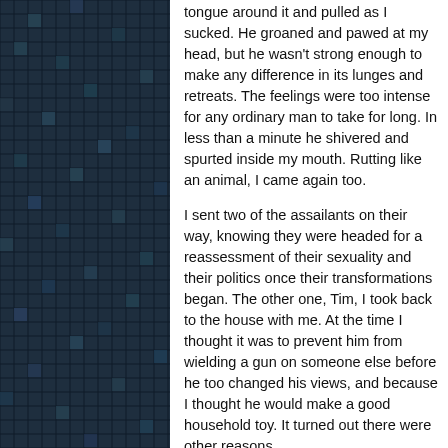[Figure (illustration): Dark teal/navy blue mosaic grid pattern filling the left portion of the page]
tongue around it and pulled as I sucked. He groaned and pawed at my head, but he wasn't strong enough to make any difference in its lunges and retreats. The feelings were too intense for any ordinary man to take for long. In less than a minute he shivered and spurted inside my mouth. Rutting like an animal, I came again too.
I sent two of the assailants on their way, knowing they were headed for a reassessment of their sexuality and their politics once their transformations began. The other one, Tim, I took back to the house with me. At the time I thought it was to prevent him from wielding a gun on someone else before he too changed his views, and because I thought he would make a good household toy. It turned out there were other reasons.